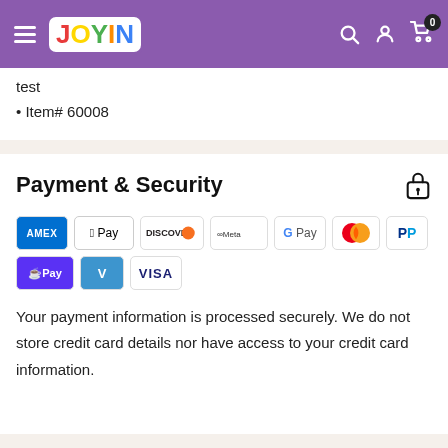Joyin - Navigation header with hamburger menu, logo, search, account, and cart icons
test
Item# 60008
Payment & Security
[Figure (infographic): Payment method icons: American Express, Apple Pay, Discover, Meta Pay, Google Pay, Mastercard, PayPal, Shop Pay, Venmo, Visa]
Your payment information is processed securely. We do not store credit card details nor have access to your credit card information.